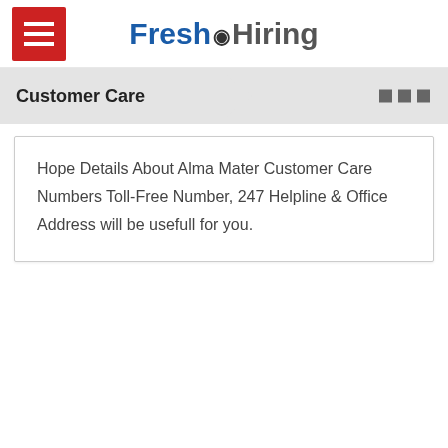Fresh Hiring
Customer Care
Hope Details About Alma Mater Customer Care Numbers Toll-Free Number, 247 Helpline & Office Address will be usefull for you.